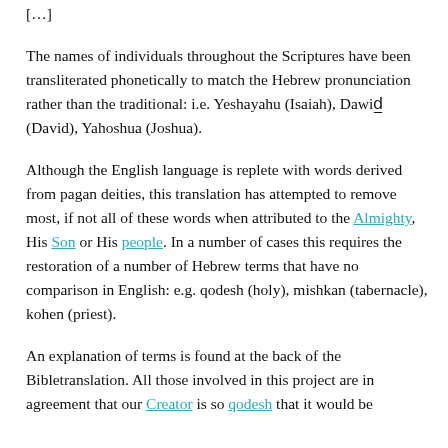[…]
The names of individuals throughout the Scriptures have been transliterated phonetically to match the Hebrew pronunciation rather than the traditional: i.e. Yeshayahu (Isaiah), Dawid (David), Yahoshua (Joshua).
Although the English language is replete with words derived from pagan deities, this translation has attempted to remove most, if not all of these words when attributed to the Almighty, His Son or His people. In a number of cases this requires the restoration of a number of Hebrew terms that have no comparison in English: e.g. qodesh (holy), mishkan (tabernacle), kohen (priest).
An explanation of terms is found at the back of the Bibletranslation. All those involved in this project are in agreement that our Creator is so qodesh that it would be